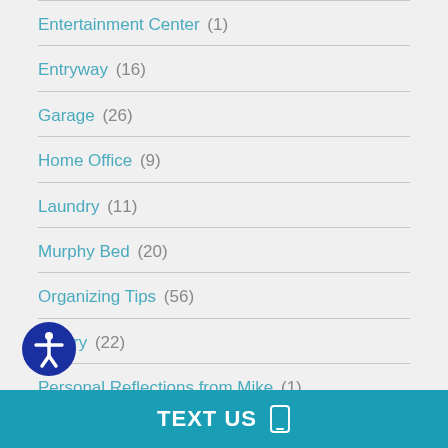Entertainment Center (1)
Entryway (16)
Garage (26)
Home Office (9)
Laundry (11)
Murphy Bed (20)
Organizing Tips (56)
Pantry (22)
Personal Reflections from Mike (1)
Uncategorized (4)
TEXT US